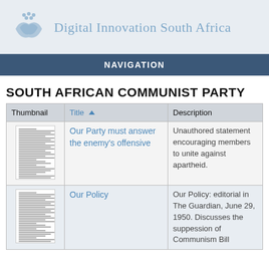Digital Innovation South Africa
NAVIGATION
SOUTH AFRICAN COMMUNIST PARTY
| Thumbnail | Title | Description |
| --- | --- | --- |
| [thumbnail image] | Our Party must answer the enemy&apos;s offensive | Unauthored statement encouraging members to unite against apartheid. |
| [thumbnail image] | Our Policy | Our Policy: editorial in The Guardian, June 29, 1950. Discusses the suppession of Communism Bill |